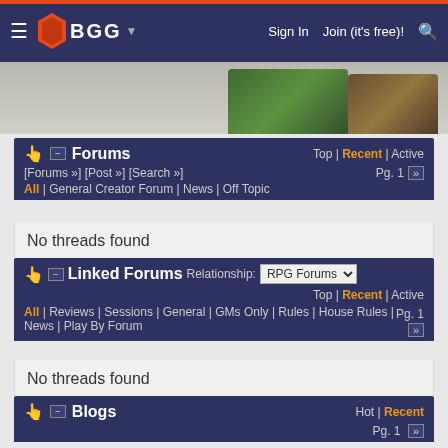BGG — Sign In | Join (it's free)! [search]
[Figure (screenshot): Partial board game box art images in a horizontal strip]
Forums — Top | Recent | Active — [Forums »] [Post »] [Search »] — All | General Creator Forum | News | Off Topic — Pg. 1
No threads found
Linked Forums — Relationship: RPG Forums — Top | Recent | Active — All | Reviews | Sessions | General | GMs Only | Rules | House Rules | News | Play By Forum — Pg. 1
No threads found
Blogs — Hot | Recent — Pg. 1
No posts found
Linked Items — Relationship: Designer | Sort: Name | Category: [dropdown] | Genre: [dropdown]